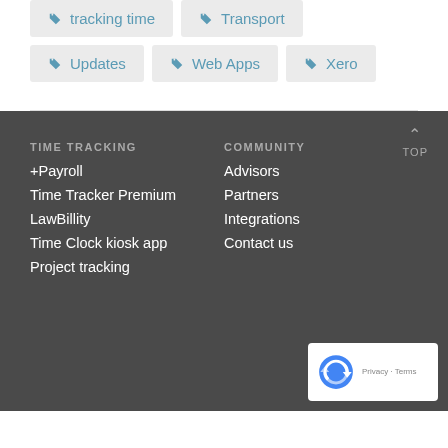tracking time
Transport
Updates
Web Apps
Xero
TIME TRACKING
COMMUNITY
+Payroll
Time Tracker Premium
LawBillity
Time Clock kiosk app
Project tracking
Advisors
Partners
Integrations
Contact us